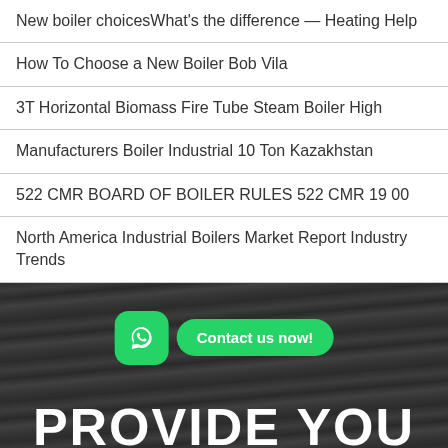New boiler choicesWhat's the difference — Heating Help
How To Choose a New Boiler Bob Vila
3T Horizontal Biomass Fire Tube Steam Boiler High
Manufacturers Boiler Industrial 10 Ton Kazakhstan
522 CMR BOARD OF BOILER RULES 522 CMR 19 00
North America Industrial Boilers Market Report Industry Trends
[Figure (photo): Dark wood-textured background with WhatsApp contact button (green rounded square with phone icon) and a green pill-shaped 'Contact us now!' button, plus large white bold text 'PROVIDE YOU' at the bottom]